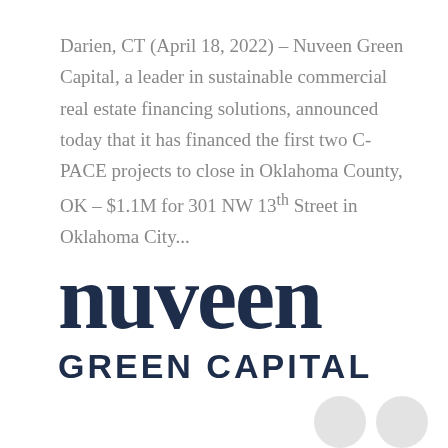Darien, CT (April 18, 2022) – Nuveen Green Capital, a leader in sustainable commercial real estate financing solutions, announced today that it has financed the first two C-PACE projects to close in Oklahoma County, OK – $1.1M for 301 NW 13th Street in Oklahoma City...
[Figure (logo): Nuveen Green Capital logo — large bold serif 'nuveen' text in dark navy above bold sans-serif 'GREEN CAPITAL' in dark navy]